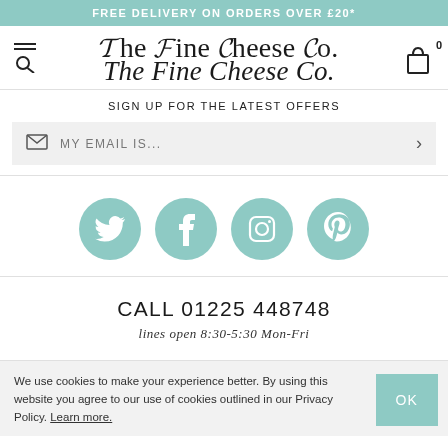FREE DELIVERY ON ORDERS OVER £20*
[Figure (logo): The Fine Cheese Co. logo in script font with menu/search icons on left and cart icon on right]
SIGN UP FOR THE LATEST OFFERS
MY EMAIL IS...
[Figure (infographic): Four teal circular social media icons: Twitter, Facebook, Instagram, Pinterest]
CALL 01225 448748
lines open 8:30-5:30 Mon-Fri
We use cookies to make your experience better. By using this website you agree to our use of cookies outlined in our Privacy Policy. Learn more.